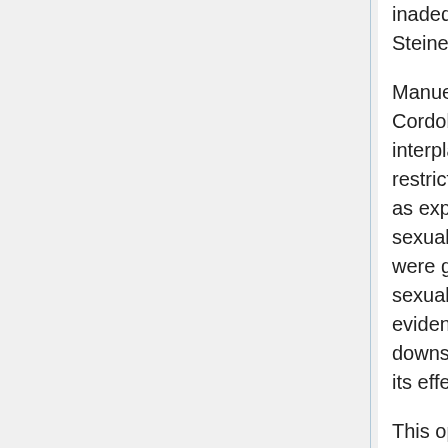inadequate stimulation of kisspeptin neurons? Steiner reckons so.
Manuel Tena-Sempere at the University of Cordoba in Spain has also been exploring the interplay between leptin and kisspeptin. He restricted the food intake of female rats and, as expected, found that this delayed their sexual maturation. But when underfed rats were given kisspeptin, they went through sexual maturation on time. This is more evidence that kisspeptin neurons are downstream of leptin and may be mediating its effect.
This opens up the possibility of new treatments for people who have defective genes either for the kisspeptin receptor, gpr54 - like the Saudi family - or for kisspeptin itself. It also might help